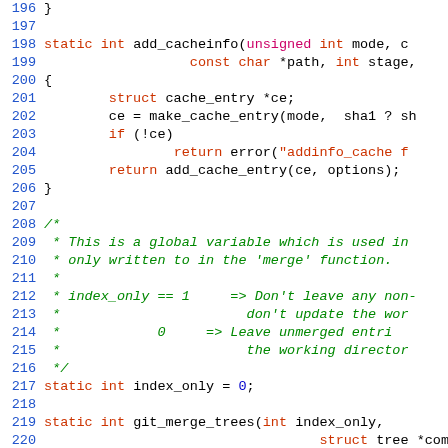[Figure (screenshot): Source code viewer showing C code lines 196-225, with syntax highlighting. Line numbers in blue on the left. Keywords in red, comments in green italic, numbers in blue, strings in red.]